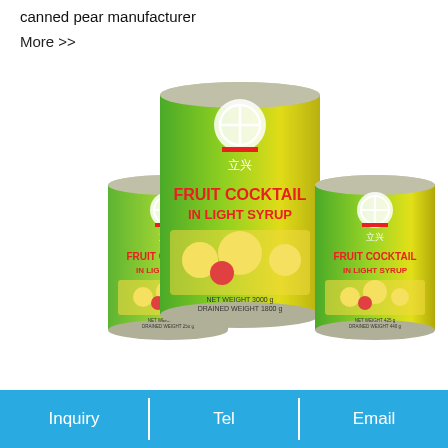canned pear manufacturer
More >>
[Figure (photo): Three cans of Fruit Cocktail in Light Syrup with green and yellow labels showing the brand logo. The center can is the largest (NET WEIGHT 3000g, DRAINED WEIGHT 1800g), flanked by a smaller can on the left and a medium can on the right (NET WEIGHT 425g, DRAINED WEIGHT 440g). All cans have red text reading FRUIT COCKTAIL IN LIGHT SYRUP on a green-to-yellow gradient label with a circular logo.]
Inquiry   Tel   Email